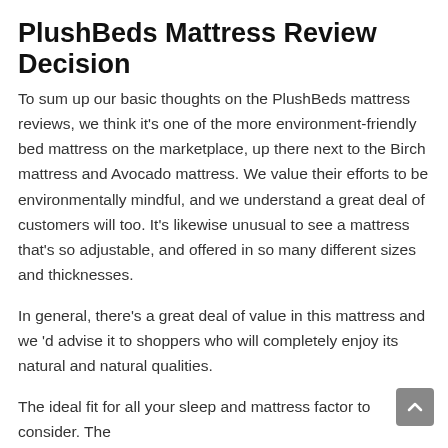PlushBeds Mattress Review Decision
To sum up our basic thoughts on the PlushBeds mattress reviews, we think it's one of the more environment-friendly bed mattress on the marketplace, up there next to the Birch mattress and Avocado mattress. We value their efforts to be environmentally mindful, and we understand a great deal of customers will too. It's likewise unusual to see a mattress that's so adjustable, and offered in so many different sizes and thicknesses.
In general, there's a great deal of value in this mattress and we 'd advise it to shoppers who will completely enjoy its natural and natural qualities.
The ideal fit for all your sleep and mattress factor to consider. The